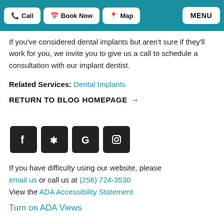Call | Book Now | Map | MENU
If you've considered dental implants but aren't sure if they'll work for you, we invite you to give us a call to schedule a consultation with our implant dentist.
Related Services: Dental Implants
RETURN TO BLOG HOMEPAGE →
[Figure (other): Social media icons: Facebook, Yelp, Google, Instagram — dark square rounded buttons]
If you have difficulty using our website, please email us or call us at (256) 724-3530
View the ADA Accessibility Statement
Turn on ADA Views